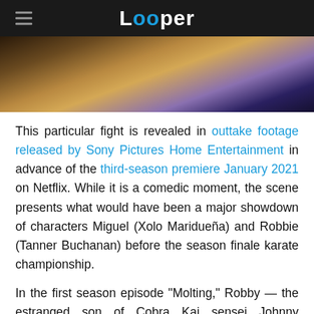Looper
[Figure (photo): A blurred/close-up action scene still from Cobra Kai showing two characters fighting, with warm golden and purple tones]
This particular fight is revealed in outtake footage released by Sony Pictures Home Entertainment in advance of the third-season premiere January 2021 on Netflix. While it is a comedic moment, the scene presents what would have been a major showdown of characters Miguel (Xolo Maridueña) and Robbie (Tanner Buchanan) before the season finale karate championship.
In the first season episode "Molting," Robby — the estranged son of Cobra Kai sensei Johnny Lawrence